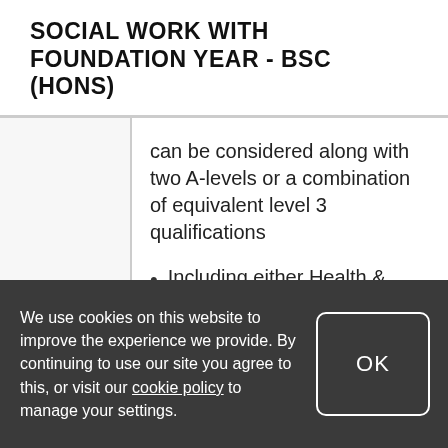SOCIAL WORK WITH FOUNDATION YEAR - BSC (HONS)
can be considered along with two A-levels or a combination of equivalent level 3 qualifications
Including either Health & Social Care, Human Biology, Biology,
We use cookies on this website to improve the experience we provide. By continuing to use our site you agree to this, or visit our cookie policy to manage your settings.